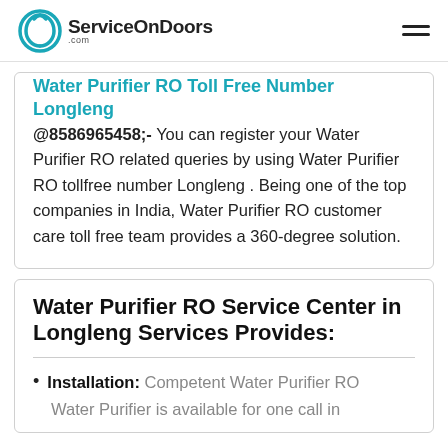ServiceOnDoors.com
Water Purifier RO Toll Free Number Longleng @8586965458;- You can register your Water Purifier RO related queries by using Water Purifier RO tollfree number Longleng . Being one of the top companies in India, Water Purifier RO customer care toll free team provides a 360-degree solution.
Water Purifier RO Service Center in Longleng Services Provides:
Installation: Competent Water Purifier RO
Water Purifier is available for one call in